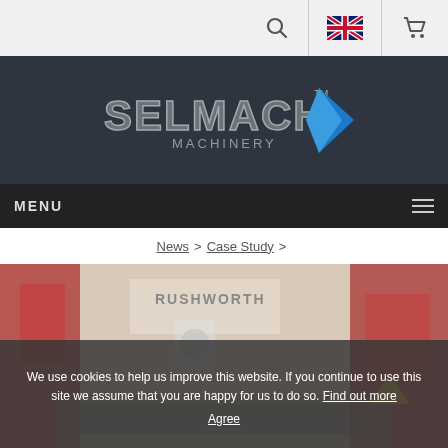[Figure (logo): Top navigation bar with search icon, UK flag, and shopping cart icon]
[Figure (logo): Selmach Machinery logo on dark navy background]
MENU
News > Case Study >
[Figure (photo): Industrial machinery / workshop photo showing Rushworth signage and red machinery equipment]
We use cookies to help us improve this website. If you continue to use this site we assume that you are happy for us to do so. Find out more
Agree